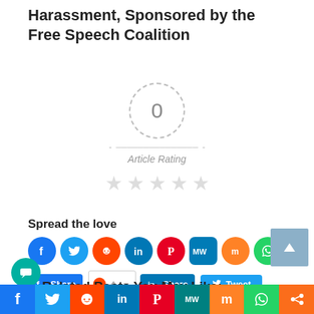Harassment, Sponsored by the Free Speech Coalition
[Figure (infographic): Article rating widget showing 0 rating with dashed circle, dashes on sides, 'Article Rating' label, and 5 empty grey stars]
Spread the love
[Figure (infographic): Row of social media share icons: Facebook, Twitter, Reddit, LinkedIn, Pinterest, MeWe, Mix, WhatsApp. Below: Facebook Share button, Reddit with arrows input, LinkedIn Share button, Tweet button, orange share circle, Pinterest Save button. Bottom navigation bar with same social icons.]
Related Posts You May Like: